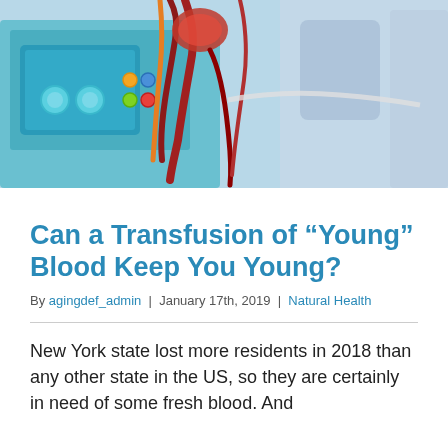[Figure (photo): Close-up photo of blood transfusion equipment showing red blood tubes/bags connected to medical machinery with teal/blue colored dialysis or infusion device in a clinical setting]
Can a Transfusion of “Young” Blood Keep You Young?
By agingdef_admin | January 17th, 2019 | Natural Health
New York state lost more residents in 2018 than any other state in the US, so they are certainly in need of some fresh blood. And